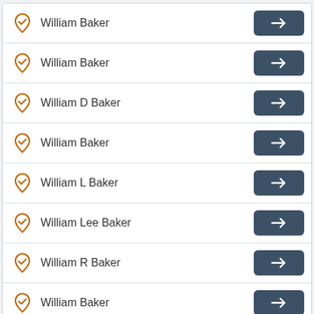William Baker
William Baker
William D Baker
William Baker
William L Baker
William Lee Baker
William R Baker
William Baker